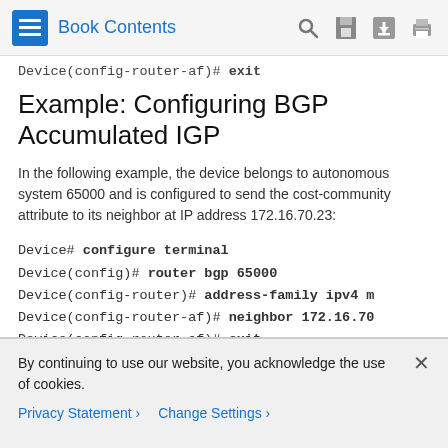Book Contents
Device(config-router-af)# exit
Example: Configuring BGP Accumulated IGP
In the following example, the device belongs to autonomous system 65000 and is configured to send the cost-community attribute to its neighbor at IP address 172.16.70.23:
Device# configure terminal
Device(config)# router bgp 65000
Device(config-router)# address-family ipv4 m
Device(config-router-af)# neighbor 172.16.70
Device(config-router-af)# exit
By continuing to use our website, you acknowledge the use of cookies.
Privacy Statement > Change Settings >